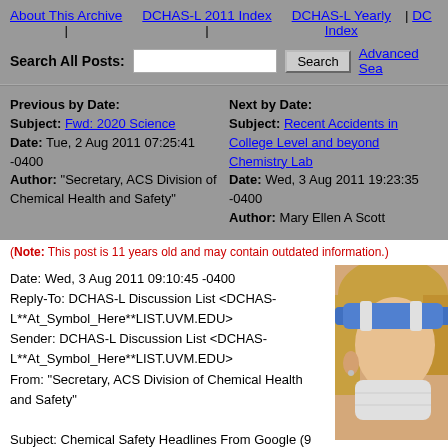About This Archive | DCHAS-L 2011 Index | DCHAS-L Yearly Index | DC...
Search All Posts: [input] Search Advanced Sea...
Previous by Date:
Subject: Fwd: 2020 Science
Date: Tue, 2 Aug 2011 07:25:41 -0400
Author: "Secretary, ACS Division of Chemical Health and Safety"
Next by Date:
Subject: Recent Accidents in College Level and beyond Chemistry Lab
Date: Wed, 3 Aug 2011 19:23:35 -0400
Author: Mary Ellen A Scott
(Note: This post is 11 years old and may contain outdated information.)
Date: Wed, 3 Aug 2011 09:10:45 -0400
Reply-To: DCHAS-L Discussion List <DCHAS-L**At_Symbol_Here**LIST.UVM.EDU>
Sender: DCHAS-L Discussion List <DCHAS-L**At_Symbol_Here**LIST.UVM.EDU>
From: "Secretary, ACS Division of Chemical Health and Safety"

Subject: Chemical Safety Headlines From Google (9 articles)
[Figure (photo): Person wearing a face shield and mask, with blue strap, blonde hair, cropped on right side of page]